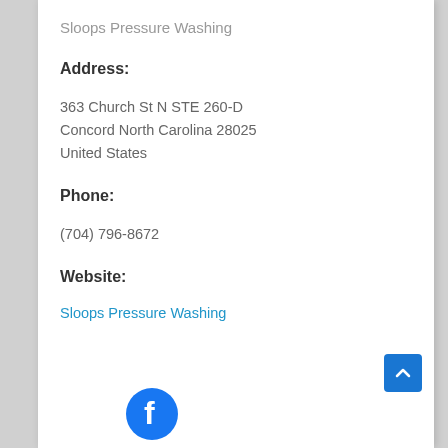Sloops Pressure Washing
Address:
363 Church St N STE 260-D
Concord North Carolina 28025
United States
Phone:
(704) 796-8672
Website:
Sloops Pressure Washing